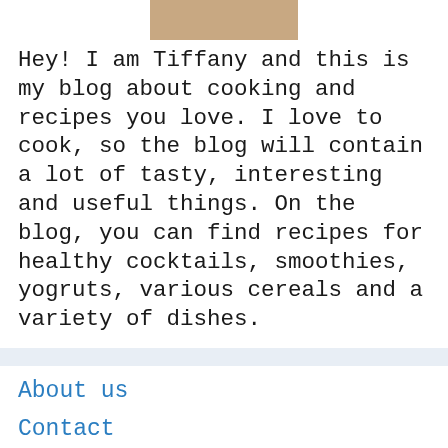[Figure (photo): Partial photo of a woman (Tiffany), showing cropped face/hair at the top of the page]
Hey! I am Tiffany and this is my blog about cooking and recipes you love. I love to cook, so the blog will contain a lot of tasty, interesting and useful things. On the blog, you can find recipes for healthy cocktails, smoothies, yogruts, various cereals and a variety of dishes.
About us
Contact
Privacy Policy & Cookies
ATTENTION TO RIGHT HOLDERS! All materials are posted on the site strictly for